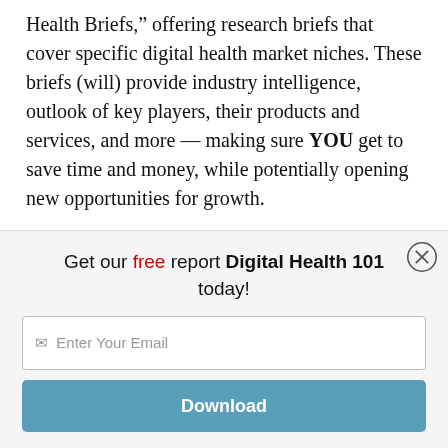Health Briefs,” offering research briefs that cover specific digital health market niches. These briefs (will) provide industry intelligence, outlook of key players, their products and services, and more — making sure YOU get to save time and money, while potentially opening new opportunities for growth.
Whether you’re a medical or pharma professional,
Get our free report Digital Health 101 today!
✉ Enter Your Email
Download